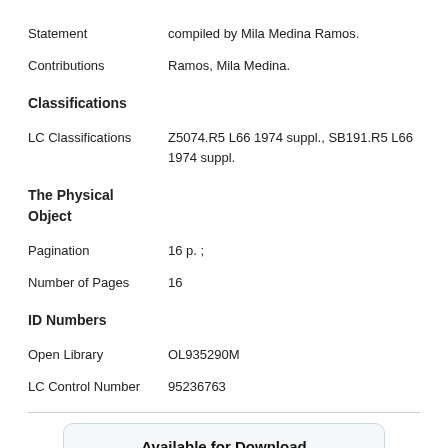Statement: compiled by Mila Medina Ramos.
Contributions: Ramos, Mila Medina.
Classifications
LC Classifications: Z5074.R5 L66 1974 suppl., SB191.R5 L66 1974 suppl.
The Physical Object
Pagination: 16 p. ;
Number of Pages: 16
ID Numbers
Open Library: OL935290M
LC Control Number: 95236763
Available for Download